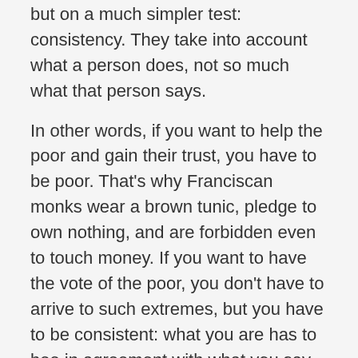but on a much simpler test: consistency. They take into account what a person does, not so much what that person says.
In other words, if you want to help the poor and gain their trust, you have to be poor. That's why Franciscan monks wear a brown tunic, pledge to own nothing, and are forbidden even to touch money. If you want to have the vote of the poor, you don't have to arrive to such extremes, but you have to be consistent: what you are has to bee in agreement with what you say. And, if you are rich, you shouldn't even try to disguise yourself as being poor. As I said, the poor are not stupid.
That was the problem of the Italian Communist Party that was supposed to represent the